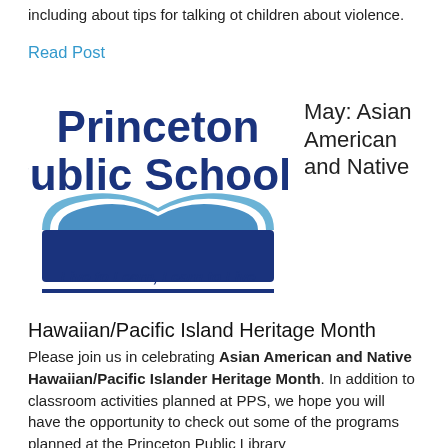including about tips for talking ot children about violence.
Read Post
[Figure (logo): Princeton Public Schools logo with open book graphic and tagline 'Live to Learn, Learn to Live']
May: Asian American and Native
Hawaiian/Pacific Island Heritage Month
Please join us in celebrating Asian American and Native Hawaiian/Pacific Islander Heritage Month. In addition to classroom activities planned at PPS, we hope you will have the opportunity to check out some of the programs planned at the Princeton Public Library